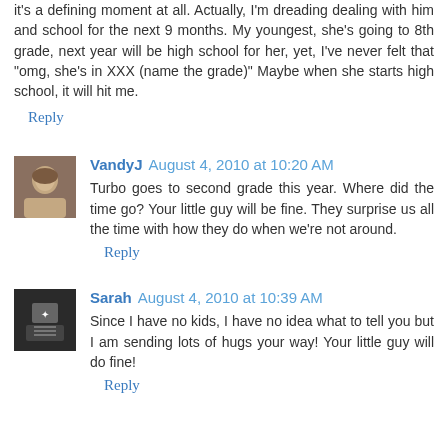it's a defining moment at all. Actually, I'm dreading dealing with him and school for the next 9 months. My youngest, she's going to 8th grade, next year will be high school for her, yet, I've never felt that "omg, she's in XXX (name the grade)" Maybe when she starts high school, it will hit me.
Reply
VandyJ  August 4, 2010 at 10:20 AM
Turbo goes to second grade this year. Where did the time go? Your little guy will be fine. They surprise us all the time with how they do when we're not around.
Reply
Sarah  August 4, 2010 at 10:39 AM
Since I have no kids, I have no idea what to tell you but I am sending lots of hugs your way! Your little guy will do fine!
Reply